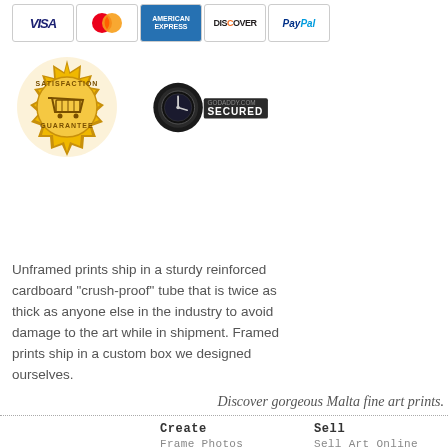[Figure (logo): Payment method icons: VISA, Mastercard, American Express, Discover, PayPal in bordered boxes]
[Figure (logo): Satisfaction Guarantee gold seal badge and GoDaddy.com Secured badge]
Unframed prints ship in a sturdy reinforced cardboard "crush-proof" tube that is twice as thick as anyone else in the industry to avoid damage to the art while in shipment. Framed prints ship in a custom box we designed ourselves.
Discover gorgeous Malta fine art prints.
Create
Frame Photos
Photos on Canvas
Sell
Sell Art Online
Become an Affiliate
Get a Trade Account